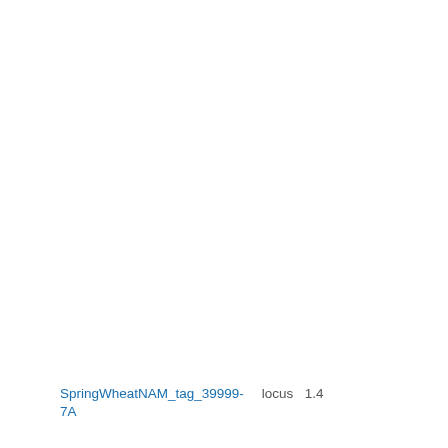BxPI366716_7A
Wheat ABD - Wheat-NAM3-Berkut-x-PI283- - Wheat-2018-NAM3-BxPI283147_7A
Wheat ABD - Wheat-NAM7-Berkut-x-PI565- - Wheat-2018-NAM7-BxPI565213_7A
Wheat ABD - Wheat-NAM10-Berkut-x-PI97 Wheat-2018-NAM10-BxPI9791_7A
Wheat ABD - Wheat-NAM13-Berkut-x-PI262611 - Wheat-2018-NAM13-BxPI262611_
Wheat ABD - Wheat-NAM16-Berkut-x-PI88 Wheat-2018-NAM16-BxPI8813_7A
Wheat ABD - Wheat-NAM27-Berkut-x-PI192569 - Wheat-2018-NAM27-BxPI192569_
Wheat ABD - Wheat-
SpringWheatNAM_tag_39999-7A  locus  1.4